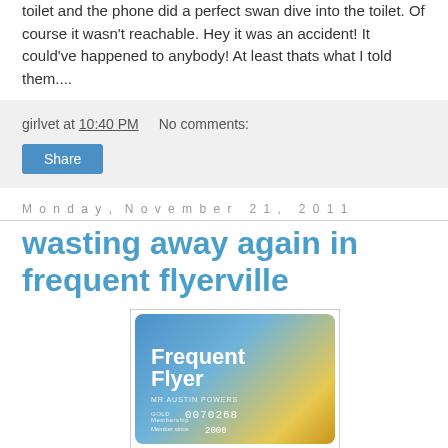toilet and the phone did a perfect swan dive into the toilet. Of course it wasn't reachable. Hey it was an accident! It could've happened to anybody! At least thats what I told them....
girlvet at 10:40 PM   No comments:
Share
Monday, November 21, 2011
wasting away again in frequent flyerville
[Figure (photo): A Frequent Flyer card for MR AUSTIN POWERS, GOLD Membership 0070268, Member since 2000]